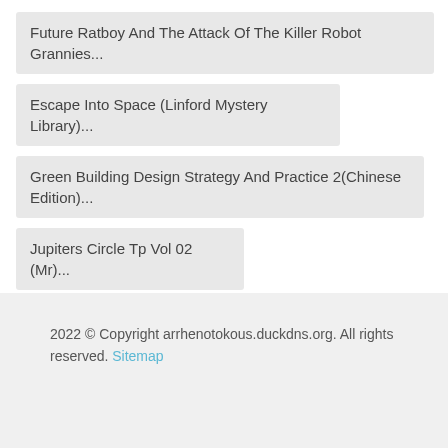Future Ratboy And The Attack Of The Killer Robot Grannies...
Escape Into Space (Linford Mystery Library)...
Green Building Design Strategy And Practice 2(Chinese Edition)...
Jupiters Circle Tp Vol 02 (Mr)...
Boston Wall Calendar (Alphabet Cities)...
2022 © Copyright arrhenotokous.duckdns.org. All rights reserved. Sitemap